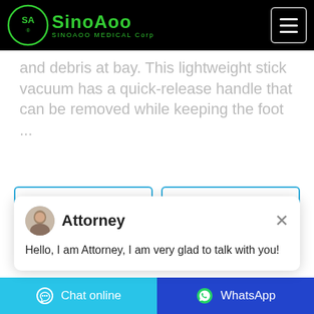SinoAoo SINOAOO MEDICAL Corp
and debris at bay. This lightweight stick vacuum has a quick-release handle that can be removed while keeping the foot ...
[Figure (screenshot): Chat popup with Attorney avatar, name 'Attorney', close button, and message 'Hello, I am Attorney, I am very glad to talk with you!']
pre hand soap 5l econtent 6 ангийн уран next liquid hand soap refill 2 life recrutamento fnac portugal lisboa
Chat online   WhatsApp